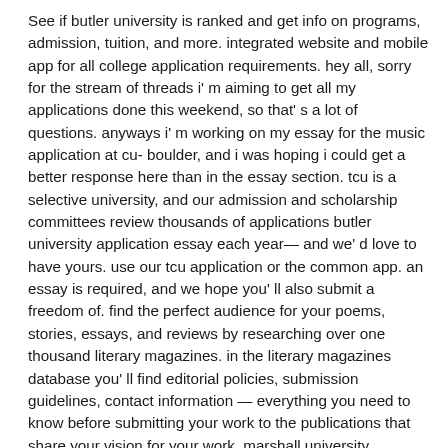See if butler university is ranked and get info on programs, admission, tuition, and more. integrated website and mobile app for all college application requirements. hey all, sorry for the stream of threads i' m aiming to get all my applications done this weekend, so that' s a lot of questions. anyways i' m working on my essay for the music application at cu- boulder, and i was hoping i could get a better response here than in the essay section. tcu is a selective university, and our admission and scholarship committees review thousands of applications butler university application essay each year— and we' d love to have yours. use our tcu application or the common app. an essay is required, and we hope you' ll also submit a freedom of. find the perfect audience for your poems, stories, essays, and reviews by researching over one thousand literary magazines. in the literary magazines database you' ll find editorial policies, submission guidelines, contact information — everything you need to know before submitting your work to the publications that share your vision for your work. marshall university admissions essay. residential security. cctv solutions; video door entry systems; intruder alarms +